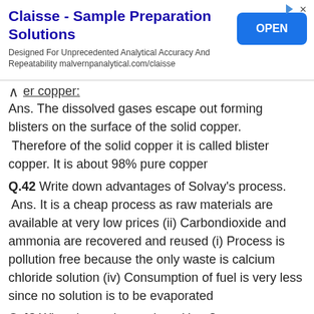[Figure (other): Advertisement banner for Claisse - Sample Preparation Solutions by Malvern Analytical with an OPEN button]
er copper:
Ans. The dissolved gases escape out forming blisters on the surface of the solid copper. Therefore of the solid copper it is called blister copper. It is about 98% pure copper
Q.42 Write down advantages of Solvay's process. Ans. It is a cheap process as raw materials are available at very low prices (ii) Carbondioxide and ammonia are recovered and reused (i) Process is pollution free because the only waste is calcium chloride solution (iv) Consumption of fuel is very less since no solution is to be evaporated
Q.43 What do you know about Urea? Ans. Urea is nitrogenous fertilizers. It consists of 46.6% nitrogen. It is white crystalline compound,